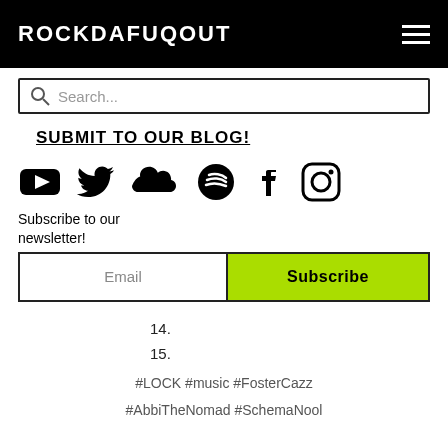ROCKDAFUQOUT
[Figure (screenshot): Search input box with magnifier icon and placeholder text 'Search...']
SUBMIT TO OUR BLOG!
[Figure (infographic): Row of social media icons: YouTube, Twitter, SoundCloud, Spotify, Facebook, Instagram]
Subscribe to our newsletter!
[Figure (screenshot): Email input field and green Subscribe button]
14.
15.
#LOCK #music #FosterCazz
#AbbiTheNomad #SchemaNool